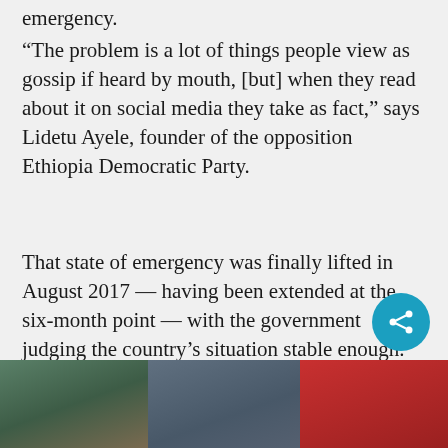emergency.
“The problem is a lot of things people view as gossip if heard by mouth, [but] when they read about it on social media they take as fact,” says Lidetu Ayele, founder of the opposition Ethiopia Democratic Party.
That state of emergency was finally lifted in August 2017 — having been extended at the six-month point — with the government judging the country’s situation stable enough. By Sept. 12, however, a riot in the eastern city of Aweday left up to 40 dead and triggered further ethnic violence and mass displacements.
[Figure (photo): Partial photo strip at bottom showing people, likely Ethiopian women, one in blue headscarf, one in red garment.]